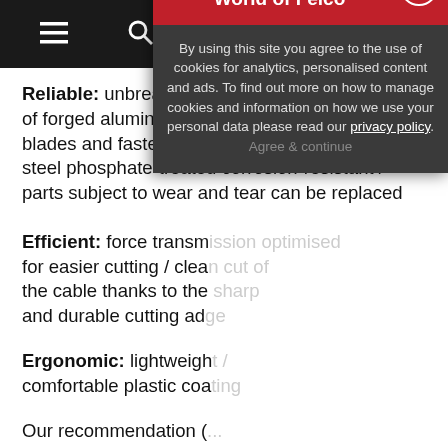Navigation bar with menu, search, account, phone, and cart (0) icons
Reliable: unbreakable hardened handles made of forged aluminium with a lifetime guarantee / blades and fastenings in high-quality hardened steel phosphate-treated corrosion-resistant / parts subject to wear and tear can be replaced
Efficient: force transm... for easier cutting / clea... the cable thanks to the... and durable cutting ad...
Ergonomic: lightweigh... comfortable plastic coa...
Our recommendation (... ★★☆ : Strongly rec...
[Figure (screenshot): Cookie consent overlay on World of Felco website with red header, close button, body text about cookies and privacy policy link, and Agree & continue option]